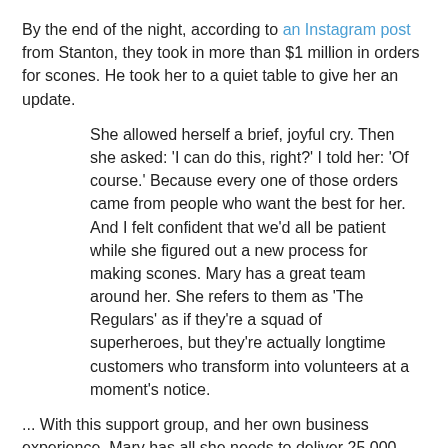By the end of the night, according to an Instagram post from Stanton, they took in more than $1 million in orders for scones. He took her to a quiet table to give her an update.
She allowed herself a brief, joyful cry. Then she asked: 'I can do this, right?' I told her: 'Of course.' Because every one of those orders came from people who want the best for her. And I felt confident that we'd all be patient while she figured out a new process for making scones. Mary has a great team around her. She refers to them as 'The Regulars' as if they're a squad of superheroes, but they're actually longtime customers who transform into volunteers at a moment's notice.
... With this support group, and her own business experience, Mary has all she needs to deliver 25,000 boxes of delicious, blackberry-jam-smothered, blessing-infused scones. It's just going to take some planning. And some time. Our goal was always to help with Mary's burdens, not